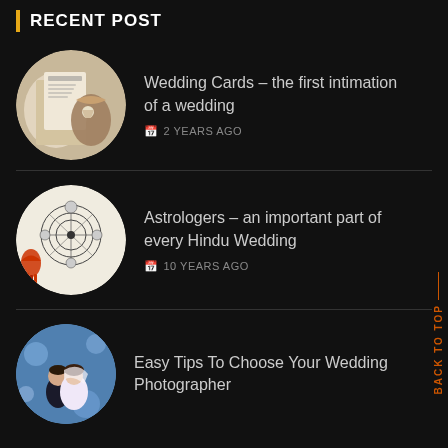RECENT POST
[Figure (photo): Circular photo of wedding invitation cards with kraft paper envelope and twine bow]
Wedding Cards – the first intimation of a wedding
2 YEARS AGO
[Figure (photo): Circular photo of Indian astrology chart with red tassel decoration]
Astrologers – an important part of every Hindu Wedding
10 YEARS AGO
[Figure (photo): Circular photo of bride and groom wedding portrait with bokeh background]
Easy Tips To Choose Your Wedding Photographer